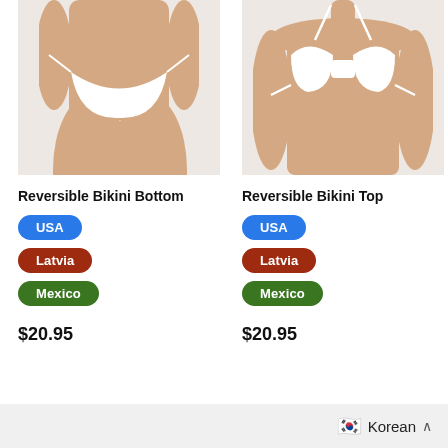[Figure (photo): Product photo of a white Reversible Bikini Bottom worn by a model, cropped from waist to thighs, white background]
[Figure (photo): Product photo of a white Reversible Bikini Top worn by a model, cropped from chest to waist, white background]
Reversible Bikini Bottom
Reversible Bikini Top
USA
Latvia
Mexico
USA
Latvia
Mexico
$20.95
$20.95
Korean